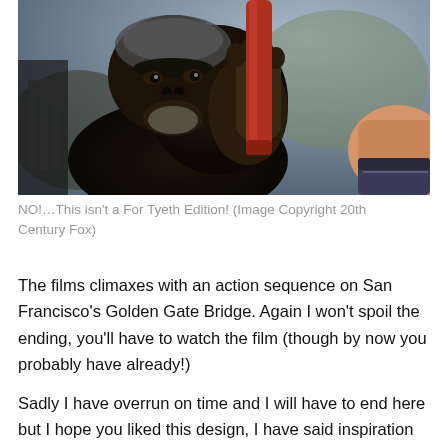[Figure (photo): A CGI chimpanzee (Caesar from Rise/Dawn of the Planet of the Apes) holding a red cylindrical object, with a blurred outdoor background. A human hand is visible on the right side.]
NO!…This isn't a For Tyeth Edition! (Image Copyright 20th Century Fox)
The films climaxes with an action sequence on San Francisco's Golden Gate Bridge. Again I won't spoil the ending, you'll have to watch the film (though by now you probably have already!)
Sadly I have overrun on time and I will have to end here but I hope you liked this design, I have said inspiration can